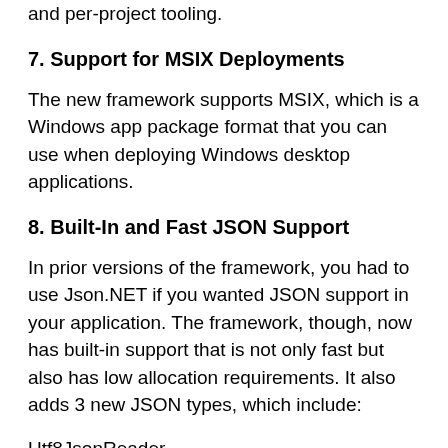and per-project tooling.
7. Support for MSIX Deployments
The new framework supports MSIX, which is a Windows app package format that you can use when deploying Windows desktop applications.
8. Built-In and Fast JSON Support
In prior versions of the framework, you had to use Json.NET if you wanted JSON support in your application. The framework, though, now has built-in support that is not only fast but also has low allocation requirements. It also adds 3 new JSON types, which include:
Utf8JsonReader
Utf8JsonWriter